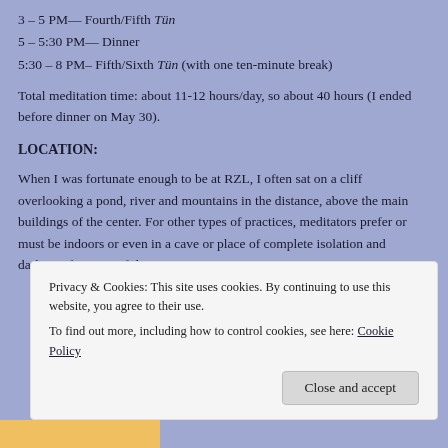3 – 5 PM— Fourth/Fifth Tün
5 – 5:30 PM— Dinner
5:30 – 8 PM– Fifth/Sixth Tün (with one ten-minute break)
Total meditation time: about 11-12 hours/day, so about 40 hours (I ended before dinner on May 30).
LOCATION:
When I was fortunate enough to be at RZL, I often sat on a cliff overlooking a pond, river and mountains in the distance, above the main buildings of the center. For other types of practices, meditators prefer or must be indoors or even in a cave or place of complete isolation and darkness for most of the time.
Privacy & Cookies: This site uses cookies. By continuing to use this website, you agree to their use.
To find out more, including how to control cookies, see here: Cookie Policy
Close and accept